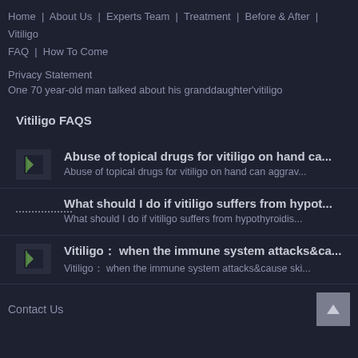Home | About Us | Experts Team | Treatment | Before & After | Vitiligo FAQ | How To Come
Privacy Statement
One 70 year-old man talked about his granddaughter'vitiligo
Vitiligo FAQS
Abuse of topical drugs for vitiligo on hand ca... — Abuse of topical drugs for vitiligo on hand can aggrav...
What should I do if vitiligo suffers from hypot... — What should I do if vitiligo suffers from hypothyroidis...
Vitiligo： when the immune system attacks&ca... — Vitiligo： when the immune system attacks&cause ski...
Contact Us